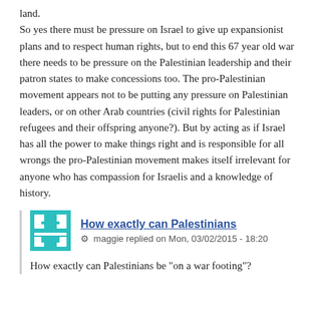land. So yes there must be pressure on Israel to give up expansionist plans and to respect human rights, but to end this 67 year old war there needs to be pressure on the Palestinian leadership and their patron states to make concessions too. The pro-Palestinian movement appears not to be putting any pressure on Palestinian leaders, or on other Arab countries (civil rights for Palestinian refugees and their offspring anyone?). But by acting as if Israel has all the power to make things right and is responsible for all wrongs the pro-Palestinian movement makes itself irrelevant for anyone who has compassion for Israelis and a knowledge of history.
How exactly can Palestinians
maggie replied on Mon, 03/02/2015 - 18:20
How exactly can Palestinians be "on a war footing"?